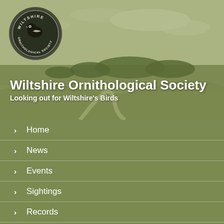[Figure (photo): Hero banner showing a green countryside landscape with rolling hills, trees in the distance, and a partly cloudy sky tinted olive-green. A circular Wiltshire Ornithological Society logo is in the top-left corner.]
Wiltshire Ornithological Society
Looking out for Wiltshire's Birds
Home
News
Events
Sightings
Records
Atlas
Where to Watch
Ringing